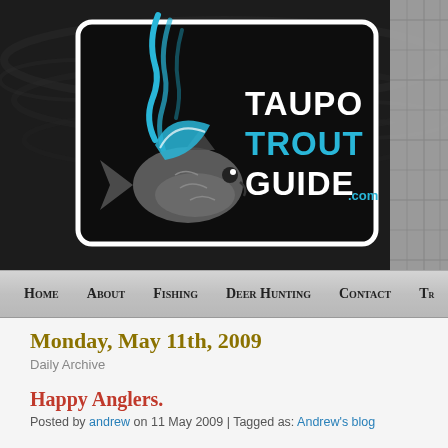[Figure (logo): Taupo Trout Guide .com logo on dark water background with fish graphic, and a person in plaid shirt visible on the right edge]
Home | About | Fishing | Deer Hunting | Contact | T...
Monday, May 11th, 2009
Daily Archive
Happy Anglers.
Posted by andrew on 11 May 2009 | Tagged as: Andrew's blog